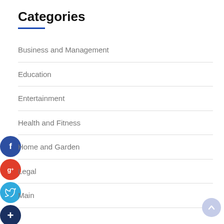Categories
Business and Management
Education
Entertainment
Health and Fitness
Home and Garden
Legal
Main